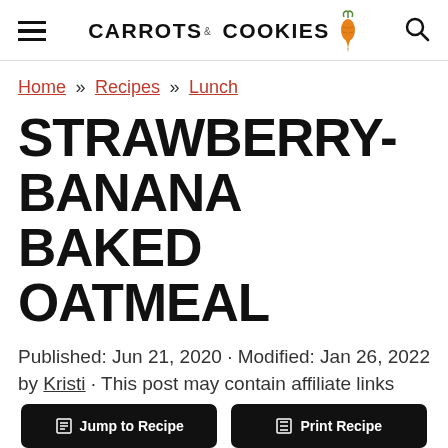CARROTS & COOKIES
Home » Recipes » Lunch
STRAWBERRY-BANANA BAKED OATMEAL
Published: Jun 21, 2020 · Modified: Jan 26, 2022 by Kristi · This post may contain affiliate links